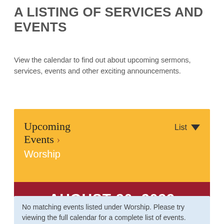A LISTING OF SERVICES AND EVENTS
View the calendar to find out about upcoming sermons, services, events and other exciting announcements.
[Figure (screenshot): Calendar widget showing 'Upcoming Events ›' heading with 'Worship' subcategory selected, a 'List' dropdown, and a dark red date bar showing 'AUGUST 20, 2022' on a gold/yellow background.]
No matching events listed under Worship. Please try viewing the full calendar for a complete list of events.